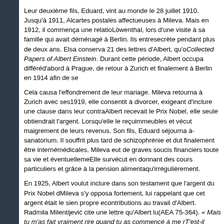Leur deuxième fils, Eduard, vint au monde le 28 juillet 1910. Jusqu'à 1911, Al[bert envoyait des] cartes postales affectueuses à Mileva. Mais en 1912, il commença une relatio[n avec Elsa] Löwenthal, lors d'une visite à sa famille qui avait déménagé à Berlin. Ils entre[tinrent une liaison] secrète pendant plus de deux ans. Elsa conserva 21 des lettres d'Albert, qu'o[n peut lire dans les] Collected Papers of Albert Einstein. Durant cette période, Albert occupa différé[nts postes,] d'abord à Prague, de retour à Zurich et finalement à Berlin en 1914 afin de se[...]
Cela causa l'effondrement de leur mariage. Mileva retourna à Zurich avec ses[enfants. En] 1919, elle consentit à divorcer, exigeant d'inclure une clause dans leur contra[t stipulant que si] Albert recevait le Prix Nobel, elle seule obtiendrait l'argent. Lorsqu'elle le reçu[t, elle acheta des] immeubles et vécut maigrement de leurs revenus. Son fils, Eduard séjourna à[plusieurs reprises en] sanatorium. Il souffrit plus tard de schizophrénie et dut finalement être interné[...] À cause des frais médicales, Mileva eut de graves soucis financiers toute sa vie et éventuellem[ent perdit ses biens.] Elle survécut en donnant des cours particuliers et grâce à la pension alimenta[ire qu'Albert versait] qu'irrégulièrement.
En 1925, Albert voulut inclure dans son testament que l'argent du Prix Nobel d[aille à ses fils.] Mileva s'y opposa fortement, lui rappelant que cet argent était le sien propre e[t mentionnant ses] contributions au travail d'Albert. Radmila Milentijević cite une lettre qu'Albert lu[i écrivit à ce sujet] (AEA 75-364). « Mais tu m'as fait vraiment rire quand tu as commencé à me r[appeler tes mérites.] T'est-il jamais venu à l'esprit, ne serait-ce qu'une seconde, que personne ne p[arlerait de] tes salades si l'homme dont tu parles n'avait pas accompli quelque chose d'in[téressant? Quand on] est quelqu'un de complètement insignifiant, il n'y a rien d'autre à dire à cette p[ersonne qu'être] modeste et de se taire. C'est ce que je te conseille de faire. »
Mileva [reacted badly to this letter. Mileva, Bota, à la domicile...]